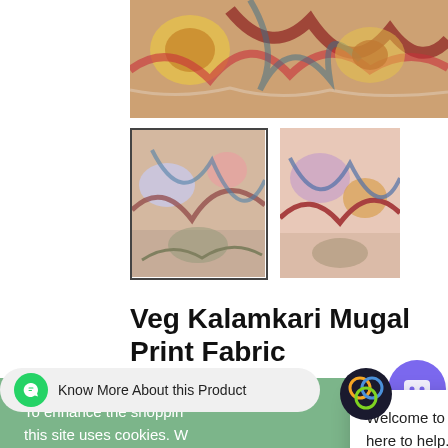[Figure (photo): Main product image showing colorful Kalamkari fabric with intricate mugal print pattern, cropped at top]
[Figure (photo): Thumbnail 1 of Veg Kalamkari Mugal Print Fabric with blue border selected state]
[Figure (photo): Thumbnail 2 of Veg Kalamkari Mugal Print Fabric]
Veg Kalamkari Mugal Print Fabric
To enhance the shopping experience, this site uses cookies. When you proceed browsing the website, we understand that you agree with our Cookie policy.
GOT IT    COOKIE POLICY
Welcome to Apna Bazar. We're right here to help. Let us know if you need anything.
Know More About this Product
th (112 se fabric is now a everywhere trending fabric